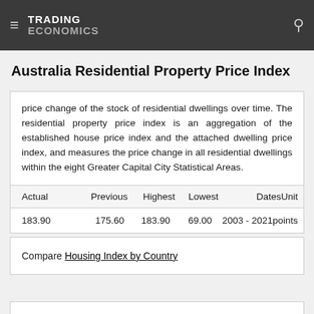TRADING ECONOMICS
Australia Residential Property Price Index
price change of the stock of residential dwellings over time. The residential property price index is an aggregation of the established house price index and the attached dwelling price index, and measures the price change in all residential dwellings within the eight Greater Capital City Statistical Areas.
| Actual | Previous | Highest | Lowest | Dates | Unit |
| --- | --- | --- | --- | --- | --- |
| 183.90 | 175.60 | 183.90 | 69.00 | 2003 - 2021 | points |
Compare Housing Index by Country